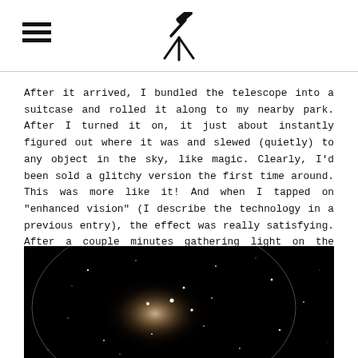[hamburger menu icon] [telescope logo]
After it arrived, I bundled the telescope into a suitcase and rolled it along to my nearby park. After I turned it on, it just about instantly figured out where it was and slewed (quietly) to any object in the sky, like magic. Clearly, I'd been sold a glitchy version the first time around. This was more like it! And when I tapped on "enhanced vision" (I describe the technology in a previous entry), the effect was really satisfying. After a couple minutes gathering light on the Andromeda Galaxy, for example, dust lanes I'd previously spotted only with averted vision clearly snapped into focus.
[Figure (photo): A telescope view of the Andromeda Galaxy against a black background, showing a glowing central core with a circular outline arc and scattered stars around it.]